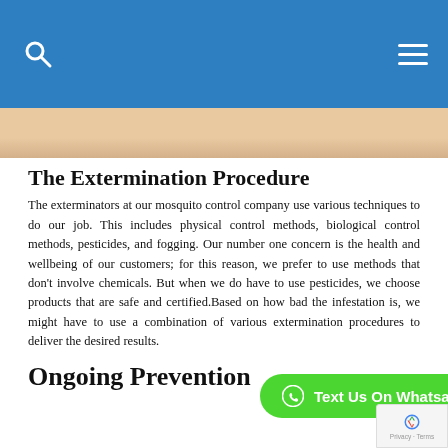Navigation bar with search and menu icons
[Figure (photo): Partial view of a beige/tan surface, likely a close-up photo related to mosquito or pest control]
The Extermination Procedure
The exterminators at our mosquito control company use various techniques to do our job. This includes physical control methods, biological control methods, pesticides, and fogging. Our number one concern is the health and wellbeing of our customers; for this reason, we prefer to use methods that don't involve chemicals. But when we do have to use pesticides, we choose products that are safe and certified.Based on how bad the infestation is, we might have to use a combination of various extermination procedures to deliver the desired results.
Ongoing Prevention